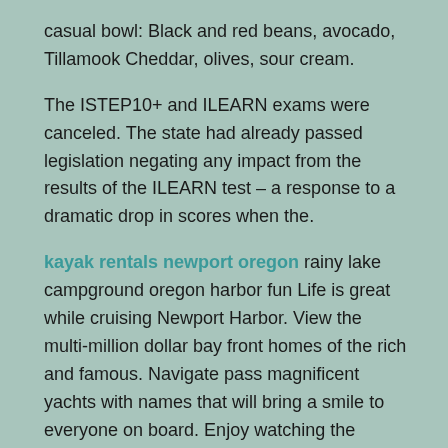casual bowl: Black and red beans, avocado, Tillamook Cheddar, olives, sour cream.
The ISTEP10+ and ILEARN exams were canceled. The state had already passed legislation negating any impact from the results of the ILEARN test – a response to a dramatic drop in scores when the.
kayak rentals newport oregon rainy lake campground oregon harbor fun Life is great while cruising Newport Harbor. View the multi-million dollar bay front homes of the rich and famous. Navigate pass magnificent yachts with names that will bring a smile to everyone on board. Enjoy watching the beautiful sailing vessels gliding along the bay. Midsummer nights bring out the sailors and "Beer Can" yacht races.